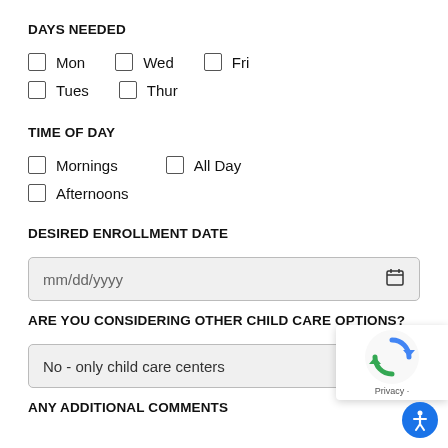DAYS NEEDED
☐ Mon   ☐ Wed   ☐ Fri
☐ Tues   ☐ Thur
TIME OF DAY
☐ Mornings   ☐ All Day
☐ Afternoons
DESIRED ENROLLMENT DATE
mm/dd/yyyy
ARE YOU CONSIDERING OTHER CHILD CARE OPTIONS?
No - only child care centers
ANY ADDITIONAL COMMENTS